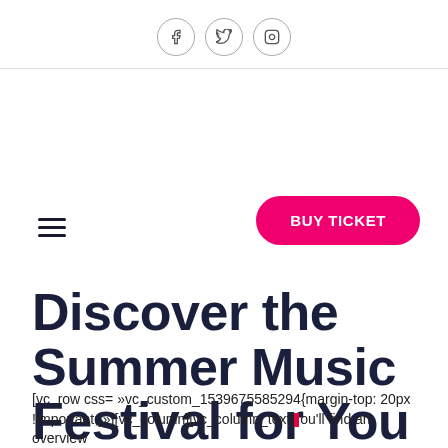[Figure (other): Three social media icon circles (Facebook, Twitter/X, LinkedIn) arranged horizontally at the top center of the page]
[Figure (other): Hamburger menu icon (three horizontal lines) on the left side]
[Figure (other): Pink/red rounded pill button labeled BUY TICKET on the right side]
Discover the Summer Music Festival for You
[vc_row css= »nc_custom_1539675585294{margin-top: 20px !important;}»][vc_column][vc_column_text] ou'll find an overview